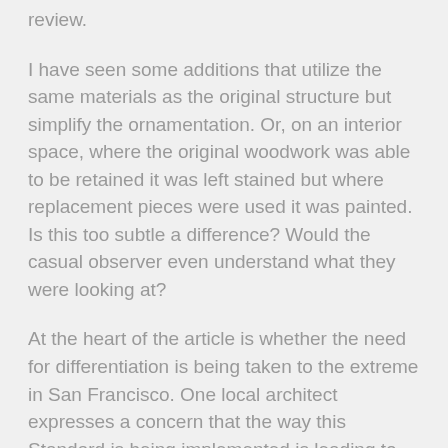review.
I have seen some additions that utilize the same materials as the original structure but simplify the ornamentation. Or, on an interior space, where the original woodwork was able to be retained it was left stained but where replacement pieces were used it was painted. Is this too subtle a difference? Would the casual observer even understand what they were looking at?
At the heart of the article is whether the need for differentiation is being taken to the extreme in San Francisco. One local architect expresses a concern that the way this Standard is being implemented is leading to "architectural chimera," a reference to the